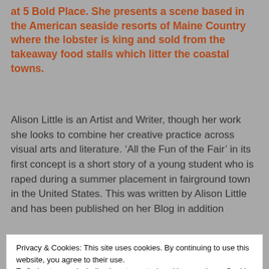at 5 Bold Place. She presents a scene based in the American seaside resorts of Maine Country where the lobster is king and sold from the takeaway food stalls which litter the coastal towns.
Alison Little is an Artist and Writer, though her work she looks to combine her creative practice across visual arts and literature. ‘All the Fun of the Fair’ in its first concept is a short story of a young student who is raped during a summer placement in fairground town in the United States. This was written by Alison Little and has been published on her Blog in addition
Privacy & Cookies: This site uses cookies. By continuing to use this website, you agree to their use.
To find out more, including how to control cookies, see here: Cookie Policy
developing this technique for several years and often